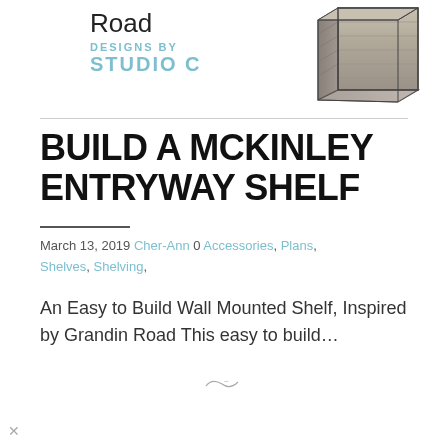Road
DESIGNS BY
STUDIO C
[Figure (illustration): A wall-mounted entryway shelf with wood-grain texture, shown in 3D perspective view, with light gray/beige finish.]
BUILD A MCKINLEY ENTRYWAY SHELF
March 13, 2019 Cher-Ann 0 Accessories, Plans, Shelves, Shelving,
An Easy to Build Wall Mounted Shelf, Inspired by Grandin Road This easy to build…